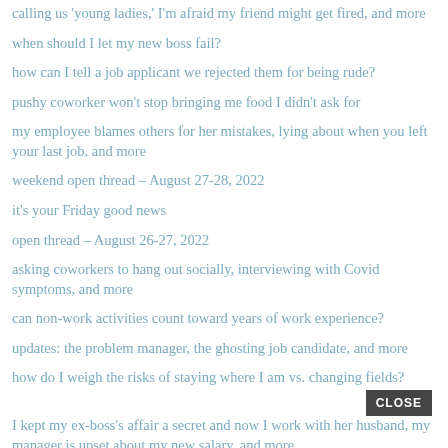calling us 'young ladies,' I'm afraid my friend might get fired, and more
when should I let my new boss fail?
how can I tell a job applicant we rejected them for being rude?
pushy coworker won't stop bringing me food I didn't ask for
my employee blames others for her mistakes, lying about when you left your last job, and more
weekend open thread – August 27-28, 2022
it's your Friday good news
open thread – August 26-27, 2022
asking coworkers to hang out socially, interviewing with Covid symptoms, and more
can non-work activities count toward years of work experience?
updates: the problem manager, the ghosting job candidate, and more
how do I weigh the risks of staying where I am vs. changing fields?
I kept my ex-boss's affair a secret and now I work with her husband, my manager is upset about my new salary, and more